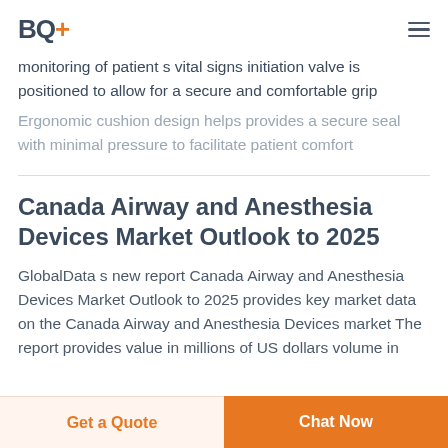BQ+
monitoring of patient s vital signs initiation valve is positioned to allow for a secure and comfortable grip
Ergonomic cushion design helps provides a secure seal with minimal pressure to facilitate patient comfort
Canada Airway and Anesthesia Devices Market Outlook to 2025
GlobalData s new report Canada Airway and Anesthesia Devices Market Outlook to 2025 provides key market data on the Canada Airway and Anesthesia Devices market The report provides value in millions of US dollars volume in
Get a Quote  |  Chat Now